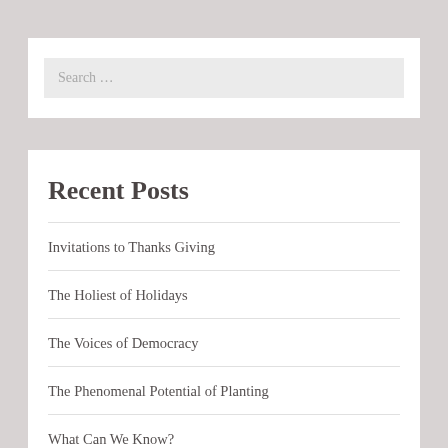Search …
Recent Posts
Invitations to Thanks Giving
The Holiest of Holidays
The Voices of Democracy
The Phenomenal Potential of Planting
What Can We Know?